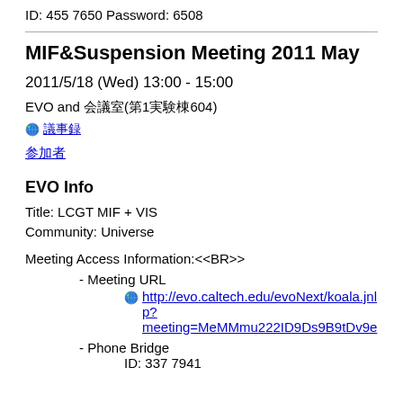ID: 455 7650 Password: 6508
MIF&Suspension Meeting 2011 May
2011/5/18 (Wed) 13:00 - 15:00
EVO and 会議室(第1実験棟604)
🌍 議事録
参加者
EVO Info
Title: LCGT MIF + VIS
Community: Universe
Meeting Access Information:<<BR>>
- Meeting URL
http://evo.caltech.edu/evoNext/koala.jnlp?meeting=MeMMmu222ID9Ds9B9tDv9e
- Phone Bridge
ID: 337 7941